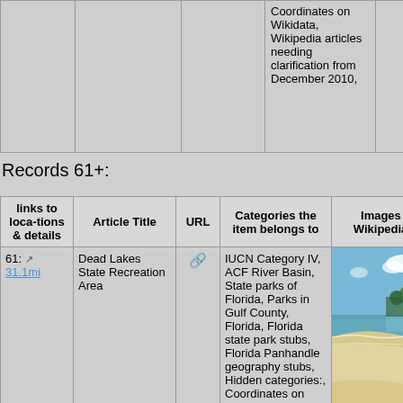|  |  | Coordinates on Wikidata, Wikipedia articles needing clarification from December 2010, |  |
Records 61+:
| links to locations & details | Article Title | URL | Categories the item belongs to | Images in Wikipedia ar |
| --- | --- | --- | --- | --- |
| 61: 31.1mi | Dead Lakes State Recreation Area | 🔗 | IUCN Category IV, ACF River Basin, State parks of Florida, Parks in Gulf County, Florida, Florida state park stubs, Florida Panhandle geography stubs, Hidden categories:, Coordinates on Wikidata, | [beach image] |